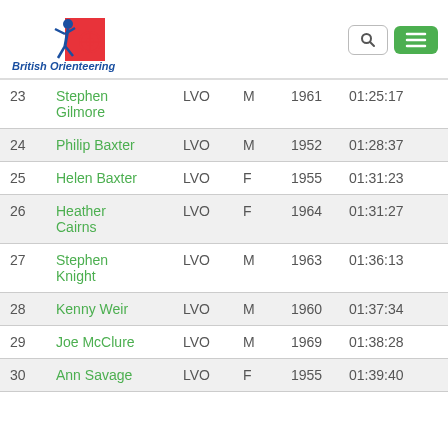[Figure (logo): British Orienteering logo with running figure and text]
| # | Name | Club | Gender | Year | Time |
| --- | --- | --- | --- | --- | --- |
| 23 | Stephen Gilmore | LVO | M | 1961 | 01:25:17 |
| 24 | Philip Baxter | LVO | M | 1952 | 01:28:37 |
| 25 | Helen Baxter | LVO | F | 1955 | 01:31:23 |
| 26 | Heather Cairns | LVO | F | 1964 | 01:31:27 |
| 27 | Stephen Knight | LVO | M | 1963 | 01:36:13 |
| 28 | Kenny Weir | LVO | M | 1960 | 01:37:34 |
| 29 | Joe McClure | LVO | M | 1969 | 01:38:28 |
| 30 | Ann Savage | LVO | F | 1955 | 01:39:40 |